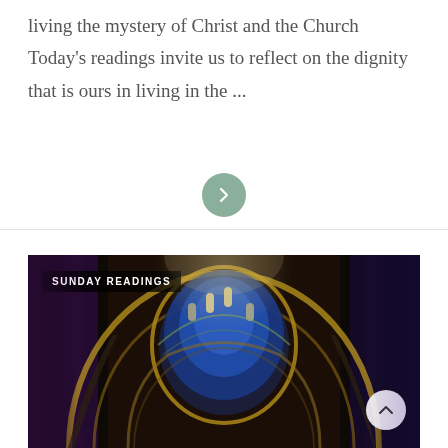living the mystery of Christ and the Church Today's readings invite us to reflect on the dignity that is ours in living in the ...
[Figure (other): Green circular arrow button (chevron right) used as a navigation element]
[Figure (photo): Interior of a cathedral with ornate stone arches, blue and gold mosaic decorations, stained glass windows, and dramatic upward perspective. Overlaid with 'SUNDAY READINGS' label badge and an up-arrow navigation button.]